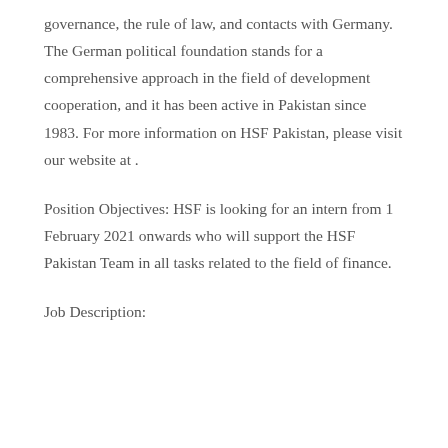governance, the rule of law, and contacts with Germany. The German political foundation stands for a comprehensive approach in the field of development cooperation, and it has been active in Pakistan since 1983. For more information on HSF Pakistan, please visit our website at .
Position Objectives: HSF is looking for an intern from 1 February 2021 onwards who will support the HSF Pakistan Team in all tasks related to the field of finance.
Job Description: